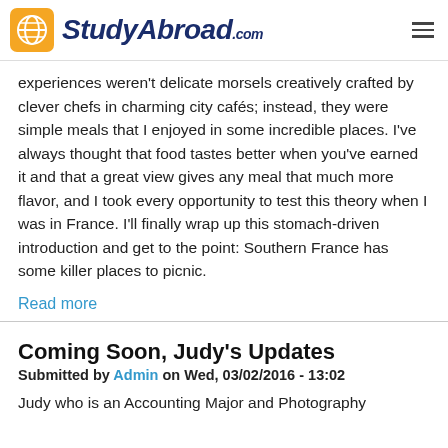StudyAbroad.com
experiences weren't delicate morsels creatively crafted by clever chefs in charming city cafés; instead, they were simple meals that I enjoyed in some incredible places. I've always thought that food tastes better when you've earned it and that a great view gives any meal that much more flavor, and I took every opportunity to test this theory when I was in France. I'll finally wrap up this stomach-driven introduction and get to the point: Southern France has some killer places to picnic.
Read more
Coming Soon, Judy's Updates
Submitted by Admin on Wed, 03/02/2016 - 13:02
Judy who is an Accounting Major and Photography